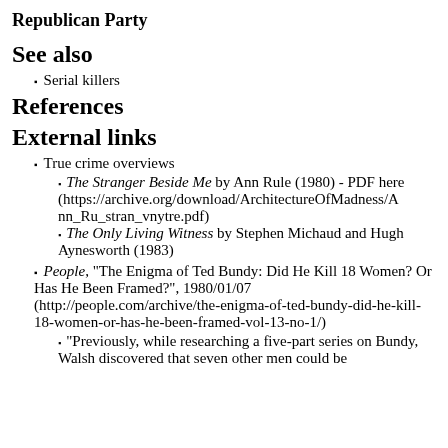Republican Party
See also
Serial killers
References
External links
True crime overviews
The Stranger Beside Me by Ann Rule (1980) - PDF here (https://archive.org/download/ArchitectureOfMadness/Ann_Ru_stran_vnytre.pdf)
The Only Living Witness by Stephen Michaud and Hugh Aynesworth (1983)
People, "The Enigma of Ted Bundy: Did He Kill 18 Women? Or Has He Been Framed?", 1980/01/07 (http://people.com/archive/the-enigma-of-ted-bundy-did-he-kill-18-women-or-has-he-been-framed-vol-13-no-1/)
"Previously, while researching a five-part series on Bundy, Walsh discovered that seven other men could be